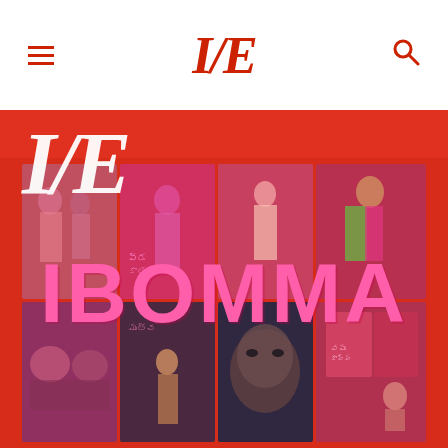I/E
[Figure (illustration): IBomma movie collage with multiple Telugu film posters arranged in a grid, overlaid with large pink IBOMMA text. Red background with I/E logo watermark.]
IBOMMA